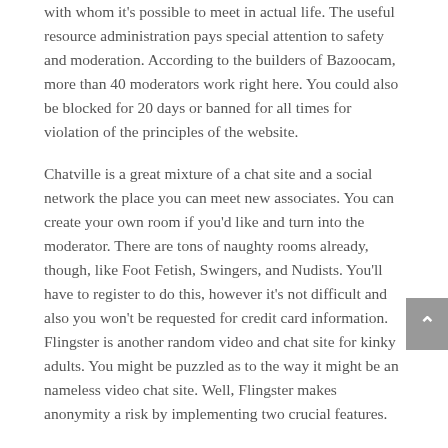with whom it's possible to meet in actual life. The useful resource administration pays special attention to safety and moderation. According to the builders of Bazoocam, more than 40 moderators work right here. You could also be blocked for 20 days or banned for all times for violation of the principles of the website.
Chatville is a great mixture of a chat site and a social network the place you can meet new associates. You can create your own room if you'd like and turn into the moderator. There are tons of naughty rooms already, though, like Foot Fetish, Swingers, and Nudists. You'll have to register to do this, however it's not difficult and also you won't be requested for credit card information. Flingster is another random video and chat site for kinky adults. You might be puzzled as to the way it might be an nameless video chat site. Well, Flingster makes anonymity a risk by implementing two crucial features.